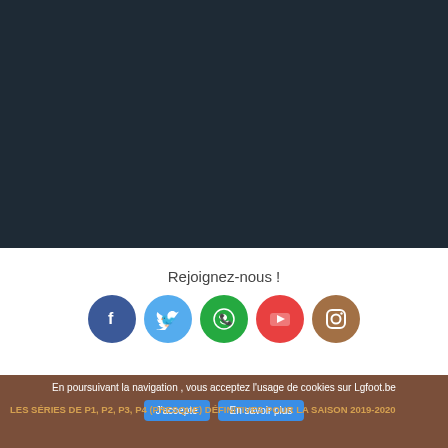[Figure (screenshot): Dark navy blue background section occupying the upper portion of the page, representing website content area.]
Rejoignez-nous !
[Figure (infographic): Row of five social media circular icon buttons: Facebook (blue), Twitter (light blue), WhatsApp (green), YouTube (red), Instagram (brown/tan).]
En poursuivant la navigation , vous acceptez l'usage de cookies sur Lgfoot.be
J'accepte
En savoir plus
LES SÉRIES DE P1, P2, P3, P4 (PRESQUE) DÉFINITIVES POUR LA SAISON 2019-2020